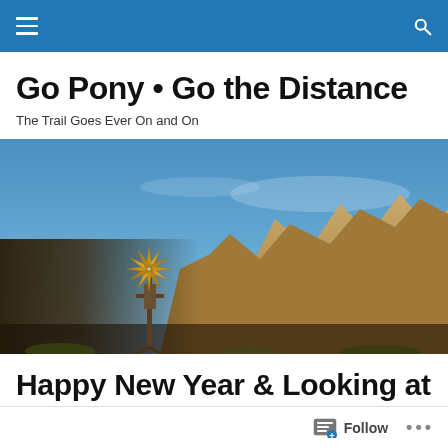Go Pony • Go the Distance
The Trail Goes Ever On and On
[Figure (photo): Landscape photo of rocky desert mountains with a vintage windmill in the foreground under a blue sky]
Happy New Year & Looking at 2018